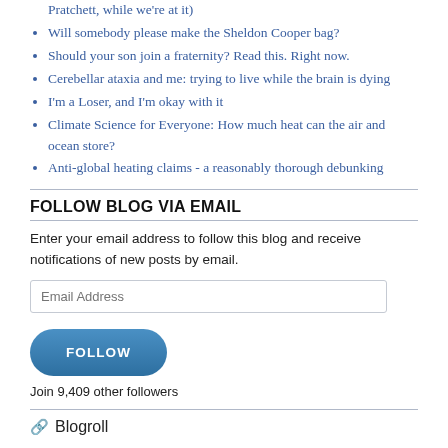Pratchett, while we're at it)
Will somebody please make the Sheldon Cooper bag?
Should your son join a fraternity? Read this. Right now.
Cerebellar ataxia and me: trying to live while the brain is dying
I'm a Loser, and I'm okay with it
Climate Science for Everyone: How much heat can the air and ocean store?
Anti-global heating claims - a reasonably thorough debunking
FOLLOW BLOG VIA EMAIL
Enter your email address to follow this blog and receive notifications of new posts by email.
Email Address
FOLLOW
Join 9,409 other followers
Blogroll